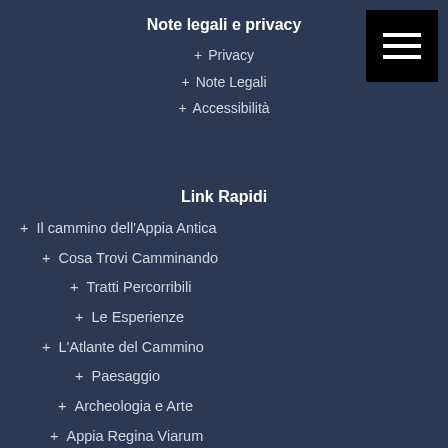Note legali e privacy
+ Privacy
+ Note Legali
+ Accessibilità
Link Rapidi
+ Il cammino dell'Appia Antica
+ Cosa Trovi Camminando
+ Tratti Percorribili
+ Le Esperienze
+ L'Atlante del Cammino
+ Paesaggio
+ Archeologia e Arte
+ Appia Regina Viarum
Contatti